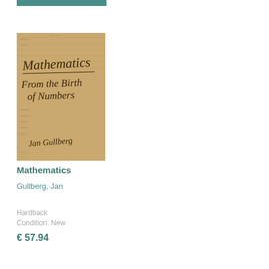[Figure (photo): Book cover of 'Mathematics: From the Birth of Numbers' by Jan Gullberg, showing handwritten script text on aged papyrus-like background]
Mathematics
Gullberg, Jan
Hardback
Condition: New
€ 57.94